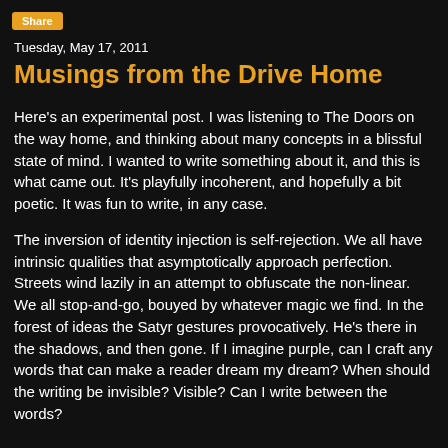[Figure (screenshot): Share button in orange/amber color at top left]
Tuesday, May 17, 2011
Musings from the Drive Home
Here's an experimental post. I was listening to The Doors on the way home, and thinking about many concepts in a blissful state of mind. I wanted to write something about it, and this is what came out. It's playfully incoherent, and hopefully a bit poetic. It was fun to write, in any case.
The inversion of identity injection is self-rejection. We all have intrinsic qualities that asymptotically approach perfection. Streets wind lazily in an attempt to obfuscate the non-linear. We all stop-and-go, bouyed by whatever magic we find. In the forest of ideas the Satyr gestures provocatively. He's there in the shadows, and then gone. If I imagine purple, can I craft any words that can make a reader dream my dream? When should the writing be invisible? Visible? Can I write between the words?